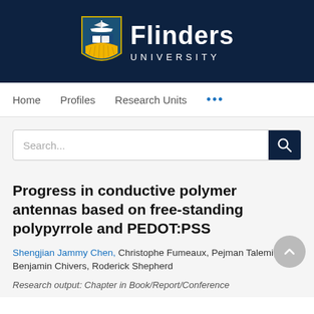[Figure (logo): Flinders University logo with shield and text on dark navy background]
Home   Profiles   Research Units   ...
Search...
Progress in conductive polymer antennas based on free-standing polypyrrole and PEDOT:PSS
Shengjian Jammy Chen, Christophe Fumeaux, Pejman Talemi, Benjamin Chivers, Roderick Shepherd
Research output: Chapter in Book/Report/Conference